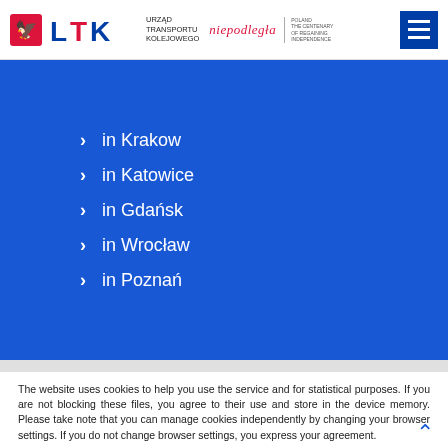UTK Urząd Transportu Kolejowego | niepodległa | Poland The Centenary of Regaining Independence
in Krakow
in Katowice
in Gdańsk
in Wrocław
in Poznań
The website uses cookies to help you use the service and for statistical purposes. If you are not blocking these files, you agree to their use and store in the device memory. Please take note that you can manage cookies independently by changing your browser settings. If you do not change browser settings, you express your agreement.
I understand. Close the window.